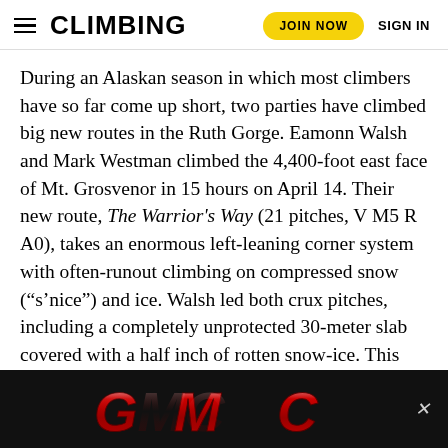CLIMBING   JOIN NOW   SIGN IN
During an Alaskan season in which most climbers have so far come up short, two parties have climbed big new routes in the Ruth Gorge. Eamonn Walsh and Mark Westman climbed the 4,400-foot east face of Mt. Grosvenor in 15 hours on April 14. Their new route, The Warrior's Way (21 pitches, V M5 R A0), takes an enormous left-leaning corner system with often-runout climbing on compressed snow (“s’nice”) and ice. Walsh led both crux pitches, including a completely unprotected 30-meter slab covered with a half inch of rotten snow-ice. This was the fourth ascent of 8,450-foot Mt. Grosvenor and the two climbers’ third new route on the peak in two years.
Walsh and Westman also made the third ascent of The Escalator on a notable site on Mt. Johnson. They then moved to the base of [obscured by ad] climbed the [obscured]
[Figure (logo): GMC automobile brand logo in red chrome lettering on a black background, with a close (X) button in the bottom right corner.]